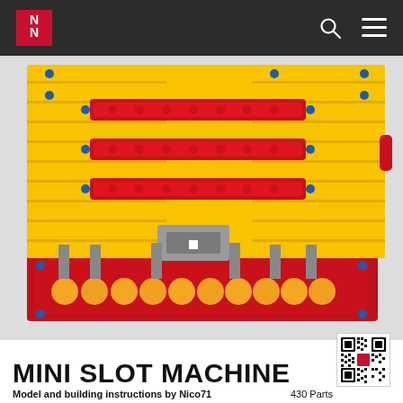N logo, search icon, menu icon
[Figure (photo): LEGO Technic mini slot machine model rendered in 3D, showing yellow brick construction with red conveyor-like bands, gray mechanical parts, and a red base tray holding orange balls]
MINI SLOT MACHINE
Model and building instructions by Nico71   430 Parts
[Figure (other): QR code linking to the model page]